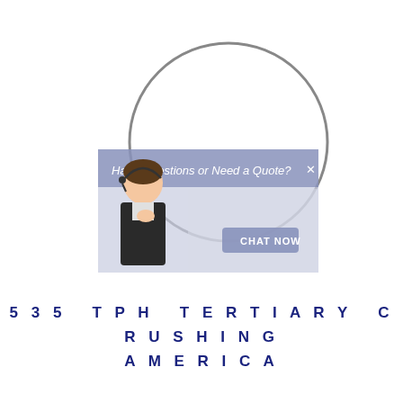[Figure (screenshot): A website chat widget popup screenshot with a circular magnifying lens overlay. The popup shows a female customer service representative wearing a headset and smiling. The popup header reads 'Have Questions or Need a Quote?' with an X close button. A 'CHAT NOW' button appears in the lower right of the popup. A large gray circle (magnifying glass ring) overlays the upper portion of the popup.]
535 TPH TERTIARY CRUSHING AMERICA